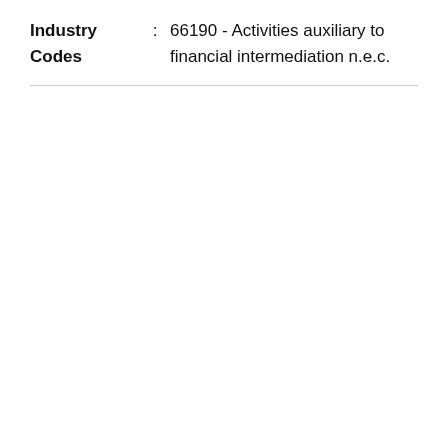Industry Codes : 66190 - Activities auxiliary to financial intermediation n.e.c.